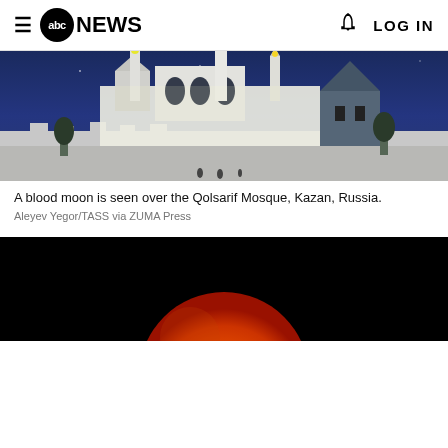≡ abc NEWS | 🔔 LOG IN
[Figure (photo): A blood moon is seen over the Qolsarif Mosque at night, illuminated white mosque towers and walls visible against a dark blue night sky, Kazan, Russia.]
A blood moon is seen over the Qolsarif Mosque, Kazan, Russia.
Aleyev Yegor/TASS via ZUMA Press
"It looks like a giant tangerine," Miguel told ABC News, adding that Cairo" was "a little bit colder than Texas right now."
[Figure (photo): Close-up photograph of a blood moon (lunar eclipse) showing a large orange-red moon against a completely black sky.]